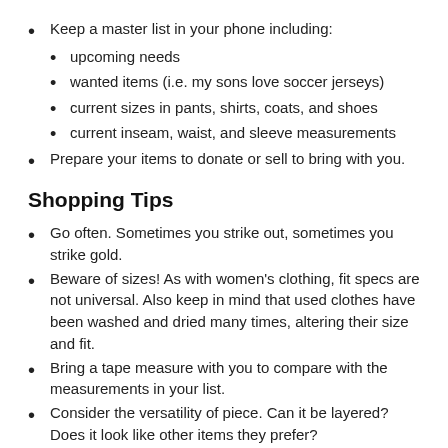Keep a master list in your phone including:
upcoming needs
wanted items (i.e. my sons love soccer jerseys)
current sizes in pants, shirts, coats, and shoes
current inseam, waist, and sleeve measurements
Prepare your items to donate or sell to bring with you.
Shopping Tips
Go often. Sometimes you strike out, sometimes you strike gold.
Beware of sizes! As with women's clothing, fit specs are not universal. Also keep in mind that used clothes have been washed and dried many times, altering their size and fit.
Bring a tape measure with you to compare with the measurements in your list.
Consider the versatility of piece. Can it be layered? Does it look like other items they prefer?
Only buy what is needed! Six pairs of jeans isn't a deal if they